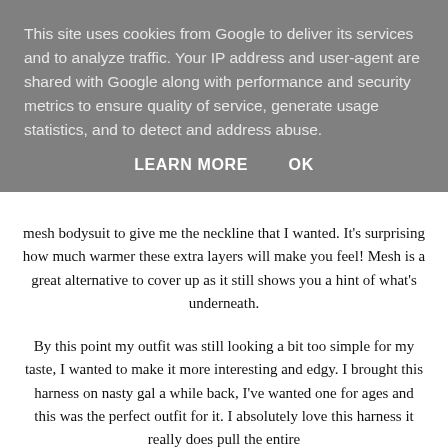This site uses cookies from Google to deliver its services and to analyze traffic. Your IP address and user-agent are shared with Google along with performance and security metrics to ensure quality of service, generate usage statistics, and to detect and address abuse.
LEARN MORE    OK
mesh bodysuit to give me the neckline that I wanted. It's surprising how much warmer these extra layers will make you feel! Mesh is a great alternative to cover up as it still shows you a hint of what's underneath.
By this point my outfit was still looking a bit too simple for my taste, I wanted to make it more interesting and edgy. I brought this harness on nasty gal a while back, I've wanted one for ages and this was the perfect outfit for it. I absolutely love this harness it really does pull the entire